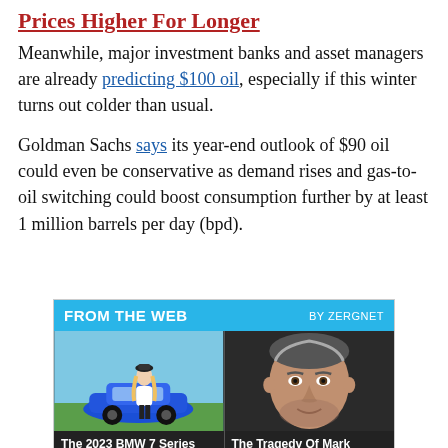Prices Higher For Longer
Meanwhile, major investment banks and asset managers are already predicting $100 oil, especially if this winter turns out colder than usual.
Goldman Sachs says its year-end outlook of $90 oil could even be conservative as demand rises and gas-to-oil switching could boost consumption further by at least 1 million barrels per day (bpd).
[Figure (infographic): FROM THE WEB / BY ZERGNET promotional widget with two article cards: 'The 2023 BMW 7 Series Has Finally Been Revealed' with a woman by a blue car, and 'The Tragedy Of Mark Ruffalo Just Gets Sadder And' with a photo of Mark Ruffalo.]